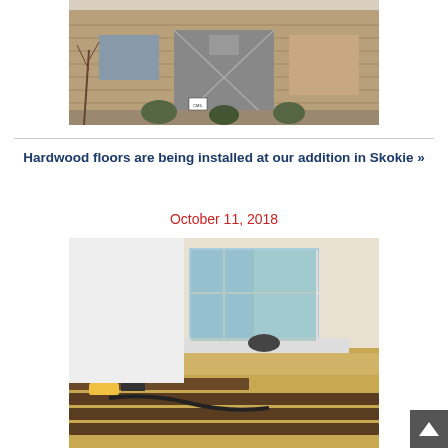[Figure (photo): Exterior photo of a brick house under construction with a grey door wrapped in plastic sheeting, bare trees and shrubs visible]
Hardwood floors are being installed at our addition in Skokie »
October 11, 2018
[Figure (photo): Interior photo of a worker installing dark hardwood floors in a room with large windows, tools and materials visible on the subfloor]